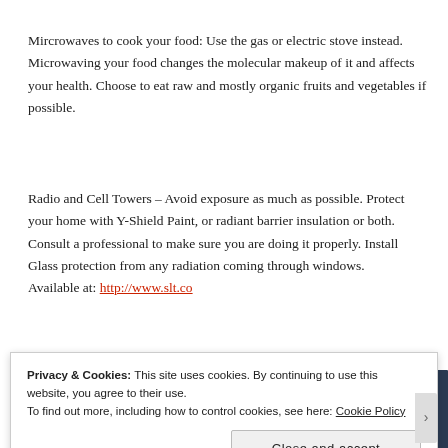Mircrowaves to cook your food: Use the gas or electric stove instead. Microwaving your food changes the molecular makeup of it and affects your health. Choose to eat raw and mostly organic fruits and vegetables if possible.
Radio and Cell Towers – Avoid exposure as much as possible. Protect your home with Y-Shield Paint, or radiant barrier insulation or both. Consult a professional to make sure you are doing it properly. Install Glass protection from any radiation coming through windows. Available at: http://www.slt.co
[Figure (screenshot): YouTube video thumbnail for 'Cell Towers and Cancer Dr Martin...' with a pink Y circle icon on a dark blue background, showing text about Cell Phone Antennas in lower Manhattan on cover of New York magazine.]
Privacy & Cookies: This site uses cookies. By continuing to use this website, you agree to their use. To find out more, including how to control cookies, see here: Cookie Policy
Close and accept